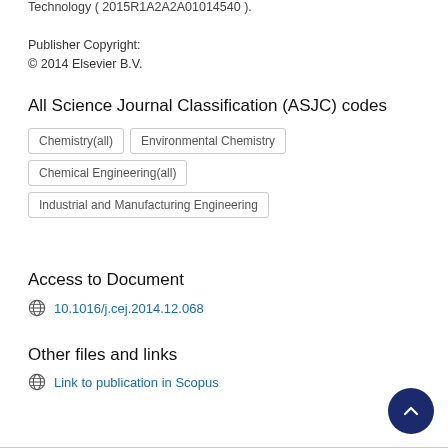Technology ( 2015R1A2A2A01014540 ).
Publisher Copyright:
© 2014 Elsevier B.V.
All Science Journal Classification (ASJC) codes
Chemistry(all)
Environmental Chemistry
Chemical Engineering(all)
Industrial and Manufacturing Engineering
Access to Document
10.1016/j.cej.2014.12.068
Other files and links
Link to publication in Scopus